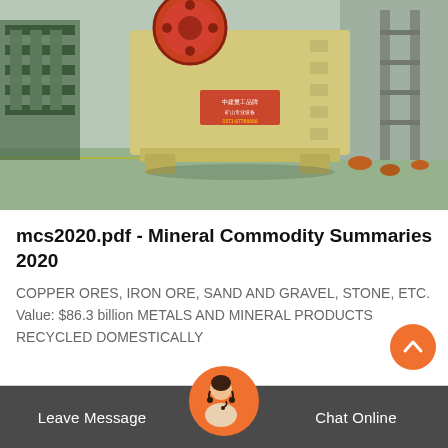[Figure (photo): Large yellow industrial jaw crusher machine in a factory warehouse with green flooring and metal storage racks in the background.]
mcs2020.pdf - Mineral Commodity Summaries 2020
COPPER ORES, IRON ORE, SAND AND GRAVEL, STONE, ETC. Value: $86.3 billion METALS AND MINERAL PRODUCTS RECYCLED DOMESTICALLY
[Figure (photo): Customer service representative avatar with headset, shown in orange circular frame at the bottom center of the page.]